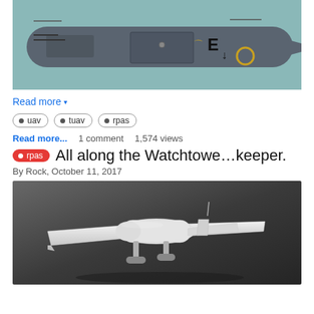[Figure (illustration): Top-down side view illustration of a military UAV/drone fuselage in dark gray against a teal background, showing markings including letter E and yellow circle symbol]
Read more ▾
• uav
• tuav
• rpas
Read more...   1 comment   1,574 views
All along the Watchtowe…keeper.
By Rock, October 11, 2017
[Figure (illustration): 3D render of a white UAV/drone aircraft viewed from above at an angle, against a dark gray background, showing wings, fuselage, tail, and landing gear]